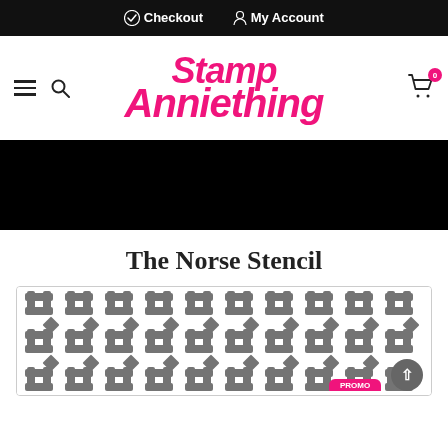✓ Checkout  👤 My Account
[Figure (logo): Stamp Anniething logo in hot pink script font]
[Figure (photo): Black banner/hero image area]
The Norse Stencil
[Figure (illustration): Norse/Celtic knot stencil pattern in dark grey on white background]